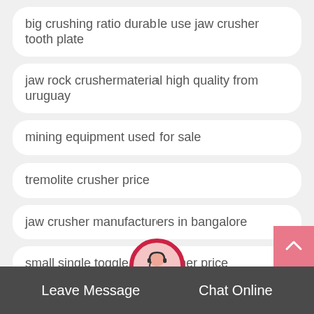big crushing ratio durable use jaw crusher tooth plate
jaw rock crushermaterial high quality from uruguay
mining equipment used for sale
tremolite crusher price
jaw crusher manufacturers in bangalore
small single toggle jaw crusher price
stage crusher vs stage
crusher china manufacturers india
Leave Message
Chat Online